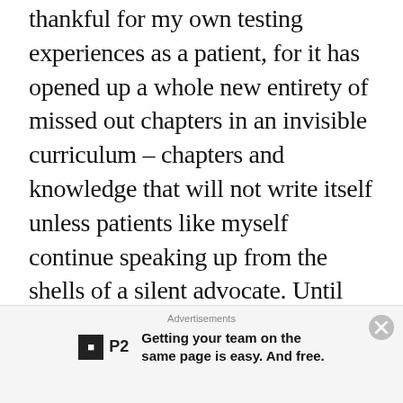thankful for my own testing experiences as a patient, for it has opened up a whole new entirety of missed out chapters in an invisible curriculum – chapters and knowledge that will not write itself unless patients like myself continue speaking up from the shells of a silent advocate. Until then, I am a young, female patient, and I know what sexism and treatment inequality in the NHS feels like.
As for the breakdown in trust with my own team of doctors, that I am slowly rebuilding, a
[Figure (other): Advertisement banner: P2 logo with text 'Getting your team on the same page is easy. And free.']